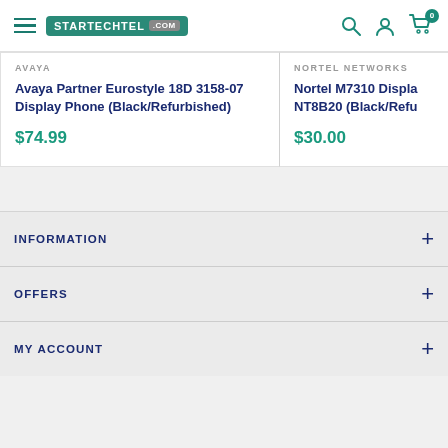STARTECHTEL .COM — navigation header with search, account, and cart icons
AVAYA
Avaya Partner Eurostyle 18D 3158-07 Display Phone (Black/Refurbished)
$74.99
NORTEL NETWORKS
Nortel M7310 Display NT8B20 (Black/Refurbished)
$30.00
INFORMATION
OFFERS
MY ACCOUNT